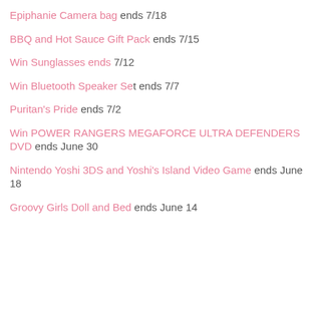Epiphanie Camera bag ends 7/18
BBQ and Hot Sauce Gift Pack ends 7/15
Win Sunglasses ends 7/12
Win Bluetooth Speaker Set ends 7/7
Puritan's Pride ends 7/2
Win POWER RANGERS MEGAFORCE ULTRA DEFENDERS DVD ends June 30
Nintendo Yoshi 3DS and Yoshi's Island Video Game ends June 18
Groovy Girls Doll and Bed ends June 14